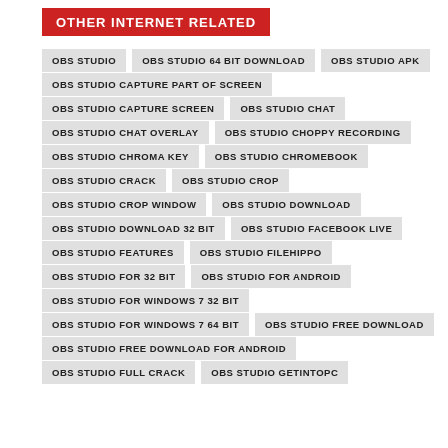OTHER INTERNET RELATED
OBS STUDIO
OBS STUDIO 64 BIT DOWNLOAD
OBS STUDIO APK
OBS STUDIO CAPTURE PART OF SCREEN
OBS STUDIO CAPTURE SCREEN
OBS STUDIO CHAT
OBS STUDIO CHAT OVERLAY
OBS STUDIO CHOPPY RECORDING
OBS STUDIO CHROMA KEY
OBS STUDIO CHROMEBOOK
OBS STUDIO CRACK
OBS STUDIO CROP
OBS STUDIO CROP WINDOW
OBS STUDIO DOWNLOAD
OBS STUDIO DOWNLOAD 32 BIT
OBS STUDIO FACEBOOK LIVE
OBS STUDIO FEATURES
OBS STUDIO FILEHIPPO
OBS STUDIO FOR 32 BIT
OBS STUDIO FOR ANDROID
OBS STUDIO FOR WINDOWS 7 32 BIT
OBS STUDIO FOR WINDOWS 7 64 BIT
OBS STUDIO FREE DOWNLOAD
OBS STUDIO FREE DOWNLOAD FOR ANDROID
OBS STUDIO FULL CRACK
OBS STUDIO GETINTOPC